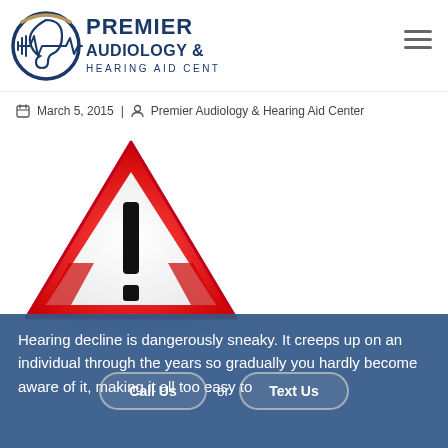[Figure (logo): Premier Audiology & Hearing Aid Center logo with ear and soundwave graphic]
March 5, 2015 | Premier Audiology & Hearing Aid Center
[Figure (illustration): Red warning triangle with black exclamation mark on white background]
Hearing decline is dangerously sneaky. It creeps up on an individual through the years so gradually you hardly become aware of it, making it all too easy to
Call Us  or  Text Us